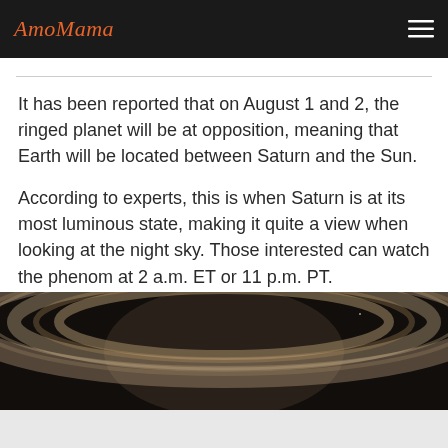AmoMama
It has been reported that on August 1 and 2, the ringed planet will be at opposition, meaning that Earth will be located between Saturn and the Sun.
According to experts, this is when Saturn is at its most luminous state, making it quite a view when looking at the night sky. Those interested can watch the phenom at 2 a.m. ET or 11 p.m. PT.
[Figure (photo): Close-up photograph of Saturn showing its rings against a dark background]